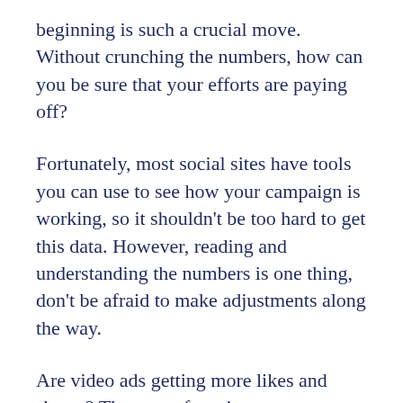beginning is such a crucial move. Without crunching the numbers, how can you be sure that your efforts are paying off?
Fortunately, most social sites have tools you can use to see how your campaign is working, so it shouldn't be too hard to get this data. However, reading and understanding the numbers is one thing, don't be afraid to make adjustments along the way.
Are video ads getting more likes and shares? Then start focusing more on creating and posting those. Is one social site barely getting any engagement? Then cut your losses and move on. By restructuring your campaign based on real-world data, you can get a much higher ROI because you're not wasting time on moves that aren't working, and invest in ones that are